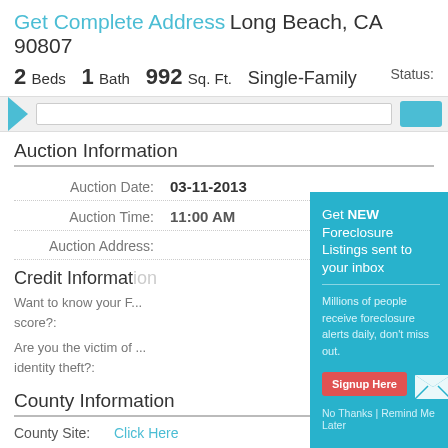Get Complete Address Long Beach, CA 90807
2 Beds  1 Bath  992 Sq. Ft.  Single-Family  Status:
Auction Information
| Label | Value |
| --- | --- |
| Auction Date: | 03-11-2013 |
| Auction Time: | 11:00 AM |
| Auction Address: |  |
Credit Information
Want to know your F... score?:
Are you the victim of ... identity theft?:
[Figure (screenshot): Modal popup: Get NEW Foreclosure Listings sent to your inbox. Millions of people receive foreclosure alerts daily, don't miss out. Signup Here button. No Thanks | Remind Me Later.]
County Information
County Site:
Click Here